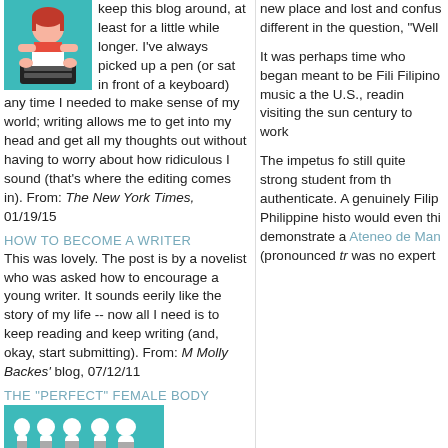[Figure (illustration): Illustration of a person sitting at a typewriter/keyboard, teal background]
keep this blog around, at least for a little while longer. I've always picked up a pen (or sat in front of a keyboard) any time I needed to make sense of my world; writing allows me to get into my head and get all my thoughts out without having to worry about how ridiculous I sound (that's where the editing comes in). From: The New York Times, 01/19/15
HOW TO BECOME A WRITER
This was lovely. The post is by a novelist who was asked how to encourage a young writer. It sounds eerily like the story of my life -- now all I need is to keep reading and keep writing (and, okay, start submitting). From: M Molly Backes' blog, 07/12/11
THE "PERFECT" FEMALE BODY
[Figure (illustration): Illustration of five female body silhouettes in white on teal background]
Every day at work I see all kinds of female bodies: athletic, boyish, curvy, voluptuous, natural, enhanced, preteen, post-baby
new place and lost and confus different in the question, "Well
It was perhaps time who began meant to be Fili Filipino music a the U.S., readin visiting the sun century to work
The impetus fo still quite strong student from th authenticate. A genuinely Filip Philippine histo would even thi demonstrate a Ateneo de Man (pronounced tr was no expert